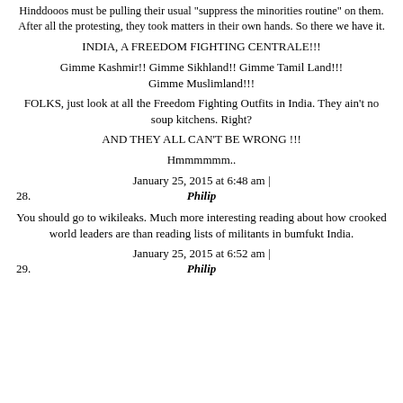Hinddooos must be pulling their usual "suppress the minorities routine" on them. After all the protesting, they took matters in their own hands. So there we have it.
INDIA, A FREEDOM FIGHTING CENTRALE!!!
Gimme Kashmir!! Gimme Sikhland!! Gimme Tamil Land!!!! Gimme Muslimland!!!
FOLKS, just look at all the Freedom Fighting Outfits in India. They ain't no soup kitchens. Right?
AND THEY ALL CAN'T BE WRONG !!!
Hmmmmmm..
January 25, 2015 at 6:48 am |
28. Philip
You should go to wikileaks. Much more interesting reading about how crooked world leaders are than reading lists of militants in bumfukt India.
January 25, 2015 at 6:52 am |
29. Philip